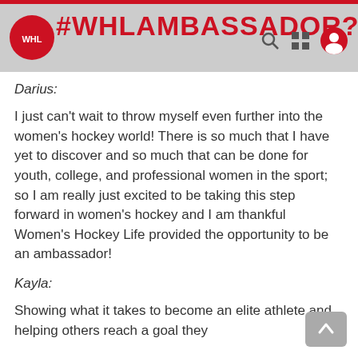#WHLAMBASSADOR?
Darius:
I just can't wait to throw myself even further into the women's hockey world! There is so much that I have yet to discover and so much that can be done for youth, college, and professional women in the sport; so I am really just excited to be taking this step forward in women's hockey and I am thankful Women's Hockey Life provided the opportunity to be an ambassador!
Kayla:
Showing what it takes to become an elite athlete and helping others reach a goal they